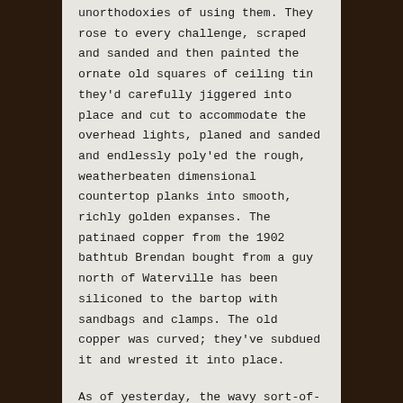unorthodoxies of using them. They rose to every challenge, scraped and sanded and then painted the ornate old squares of ceiling tin they'd carefully jiggered into place and cut to accommodate the overhead lights, planed and sanded and endlessly poly'ed the rough, weatherbeaten dimensional countertop planks into smooth, richly golden expanses. The patinaed copper from the 1902 bathtub Brendan bought from a guy north of Waterville has been siliconed to the bartop with sandbags and clamps. The old copper was curved; they've subdued it and wrested it into place.
As of yesterday, the wavy sort-of-opaque glass is in the upper cabinet doors.  The (new) porcelain sink has been set into the countertop and hooked up. The tall wooden door with beveled glass and carved details that used to hang in the front entryway is now a swinging door between the